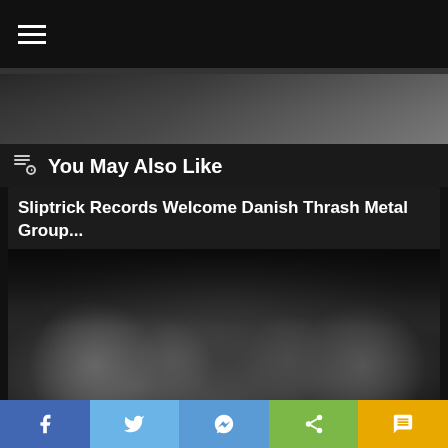☰ (hamburger menu icon)
You May Also Like
Sliptrick Records Welcome Danish Thrash Metal Group...
[Figure (photo): Black and white photo of a metal band (5 members) standing outside a brick building at night under a street lamp]
Comments
Likes
Social sharing bar: Facebook, Twitter, Messenger, Share, SMS